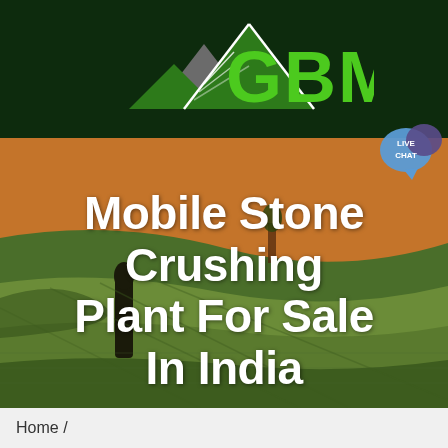[Figure (logo): GBM logo: mountain icon with white triangular peaks and a green letter GBM text in bold green on dark green background]
[Figure (other): Green navigation bar with hamburger menu icon (three white lines) on the right side]
[Figure (other): Live chat speech bubble icon in blue/purple colors positioned at top right corner]
[Figure (photo): Aerial landscape photo showing rolling agricultural fields with warm orange/green tones, with a dark standing stone figure on the left side]
Mobile Stone Crushing Plant For Sale In India
Home /